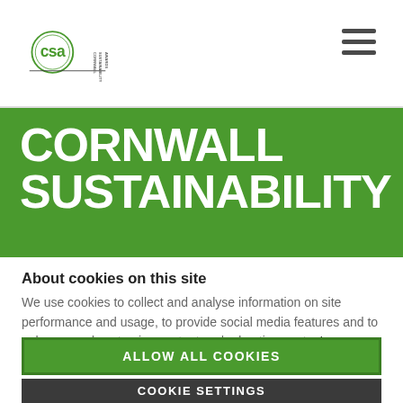[Figure (logo): CSA Cornwall Sustainability Awards logo — circular green lettering 'csa' with vertical text 'CORNWALL SUSTAINABILITY AWARDS' to the right]
[Figure (other): Hamburger menu icon — three horizontal dark grey lines]
CORNWALL SUSTAINABILITY
About cookies on this site
We use cookies to collect and analyse information on site performance and usage, to provide social media features and to enhance and customise content and advertisements. Learn more
ALLOW ALL COOKIES
COOKIE SETTINGS